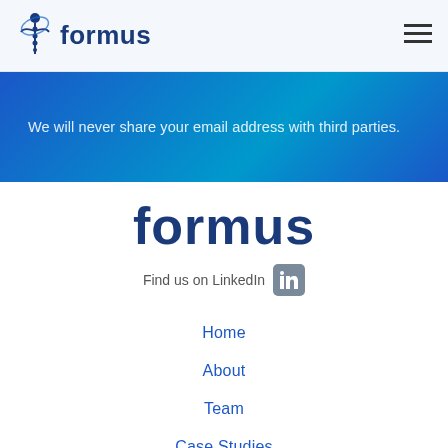[Figure (logo): Formus logo with stylized figure icon and 'formus' text in dark blue]
[Figure (other): Hamburger menu icon (three horizontal lines) in top right corner]
We will never share your email address with third parties.
[Figure (logo): Formus logo text in large dark blue bold font]
Find us on LinkedIn
Home
About
Team
Case Studies